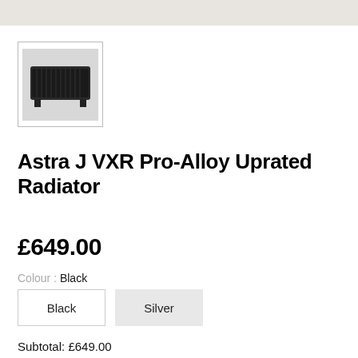[Figure (photo): Top banner area showing partial product image in beige/grey tone]
[Figure (photo): Thumbnail image of a black radiator (Astra J VXR Pro-Alloy Uprated Radiator) against white background, inside a rectangular border]
Astra J VXR Pro-Alloy Uprated Radiator
£649.00
Colour : Black
Black
Silver
Subtotal: £649.00